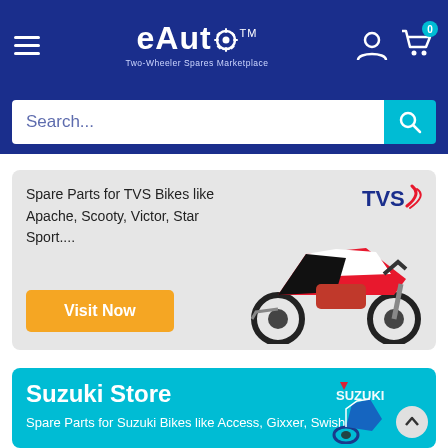[Figure (screenshot): eAuto logo and navigation bar with hamburger menu, logo text, user icon, and cart icon with badge showing 0]
[Figure (screenshot): Search bar with placeholder text 'Search...' and teal search button]
Spare Parts for TVS Bikes like Apache, Scooty, Victor, Star Sport....
[Figure (photo): Red TVS Apache motorcycle image with TVS logo]
[Figure (illustration): Visit Now orange button]
Suzuki Store
Spare Parts for Suzuki Bikes like Access, Gixxer, Swish...
[Figure (photo): Blue Suzuki scooter with Suzuki logo and scroll-to-top button]